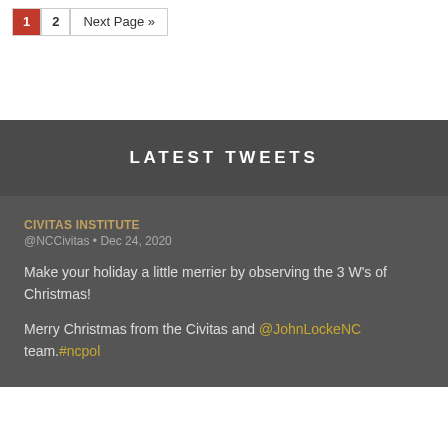1  2  Next Page »
LATEST TWEETS
CIVITAS INSTITUTE
@NCCivitas • Dec 24, 2020
Make your holiday a little merrier by observing the 3 W's of Christmas!

Merry Christmas from the Civitas and @JohnLockeNC team.#ncpol